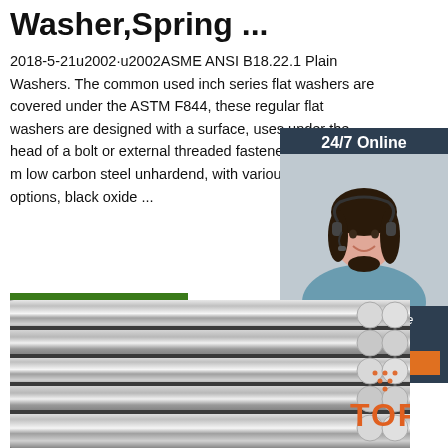Washer,Spring ...
2018-5-21u2002·u2002ASME ANSI B18.22.1 Plain Washers. The common used inch series flat washers are covered under the ASTM F844, these regular flat washers are designed with a surface, uses under the head of a bolt or external threaded fasteners. Its usually made of low carbon steel unhardend, with various treatment options, black oxide ...
[Figure (infographic): 24/7 Online chat widget with a woman wearing a headset, and a QUOTATION orange button below]
[Figure (photo): Close-up photo of multiple stainless steel round rods/bars lined up horizontally with a TOP badge overlay]
Get Price